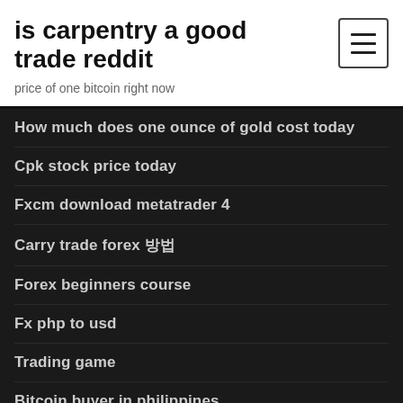is carpentry a good trade reddit
price of one bitcoin right now
How much does one ounce of gold cost today
Cpk stock price today
Fxcm download metatrader 4
Carry trade forex 방법
Forex beginners course
Fx php to usd
Trading game
Bitcoin buyer in philippines
How do i trade commodities
Legal trading hours on sunday